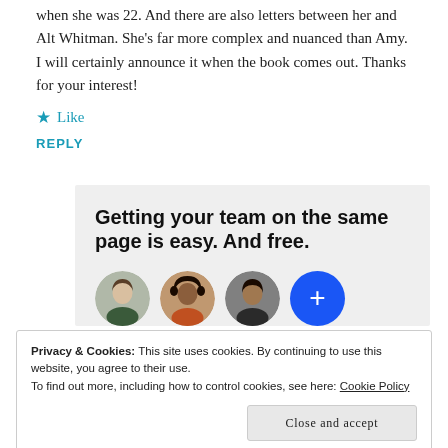when she was 22. And there are also letters between her and Alt Whitman. She's far more complex and nuanced than Amy. I will certainly announce it when the book comes out. Thanks for your interest!
★ Like
REPLY
[Figure (infographic): Advertisement banner with bold text 'Getting your team on the same page is easy. And free.' with three circular avatar photos and a blue circle with a plus sign]
Privacy & Cookies: This site uses cookies. By continuing to use this website, you agree to their use. To find out more, including how to control cookies, see here: Cookie Policy
Close and accept